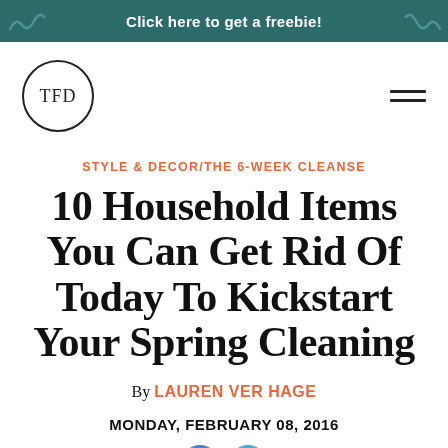Click here to get a freebie!
[Figure (logo): TFD circular logo with dark border]
STYLE & DECOR/THE 6-WEEK CLEANSE
10 Household Items You Can Get Rid Of Today To Kickstart Your Spring Cleaning
By LAUREN VER HAGE
MONDAY, FEBRUARY 08, 2016